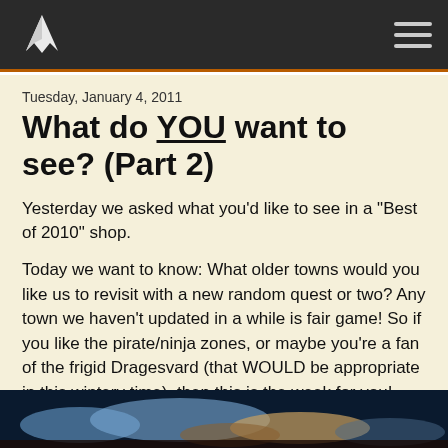Navigation bar with logo and hamburger menu
Tuesday, January 4, 2011
What do YOU want to see? (Part 2)
Yesterday we asked what you'd like to see in a "Best of 2010" shop.
Today we want to know: What older towns would you like us to revisit with a new random quest or two?  Any town we haven't updated in a while is fair game! So if you like the pirate/ninja zones, or maybe you're a fan of the frigid Dragesvard (that WOULD be appropriate in this wintery time), then this is the week for you!
[Figure (photo): Partial view of a fantasy map or game scene at the bottom of the page]